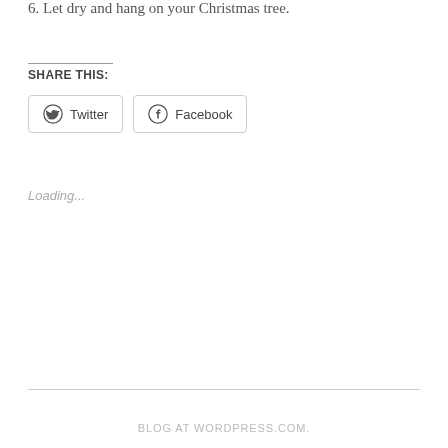6. Let dry and hang on your Christmas tree.
SHARE THIS:
Twitter
Facebook
Loading...
BLOG AT WORDPRESS.COM.